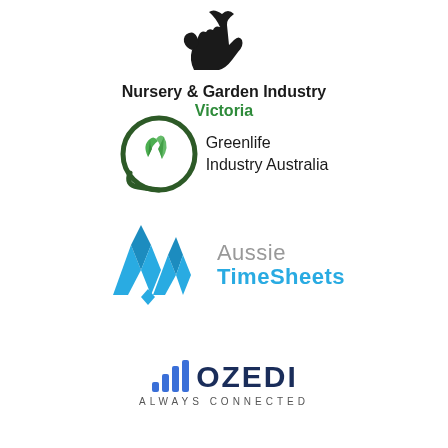[Figure (logo): Nursery & Garden Industry Victoria logo with hand holding plant graphic above text]
[Figure (logo): Greenlife Industry Australia logo with circular green leaf emblem]
[Figure (logo): Aussie TimeSheets logo with blue geometric mountain/diamond shapes and company name]
[Figure (logo): OZEDI Always Connected logo with blue signal/wifi bars icon and dark navy text]